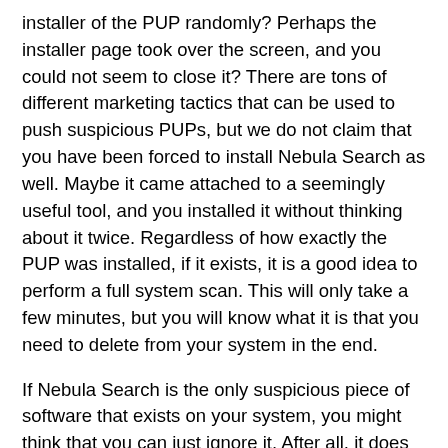installer of the PUP randomly? Perhaps the installer page took over the screen, and you could not seem to close it? There are tons of different marketing tactics that can be used to push suspicious PUPs, but we do not claim that you have been forced to install Nebula Search as well. Maybe it came attached to a seemingly useful tool, and you installed it without thinking about it twice. Regardless of how exactly the PUP was installed, if it exists, it is a good idea to perform a full system scan. This will only take a few minutes, but you will know what it is that you need to delete from your system in the end.
If Nebula Search is the only suspicious piece of software that exists on your system, you might think that you can just ignore it. After all, it does not show pop-up ads. It does not distract you. In fact, you might forget that it exists at all. After installation, it sets find.nebulasearch.net as the default search provider, but it redirects to a popular search engine, and you might not notice a difference if that search engine was your default provider previously. According to the description attached to the installer on the Chrome Web Store, Nebula Search is meant to introduce you to Bing.